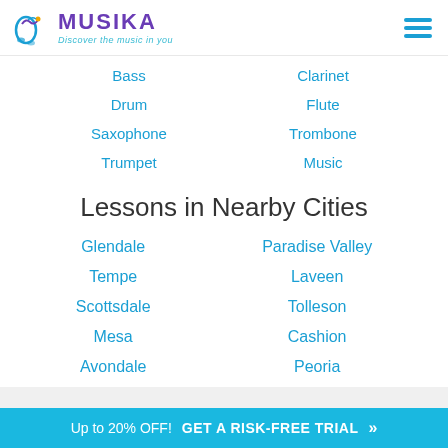MUSIKA Discover the music in you
Bass
Clarinet
Drum
Flute
Saxophone
Trombone
Trumpet
Music
Lessons in Nearby Cities
Glendale
Paradise Valley
Tempe
Laveen
Scottsdale
Tolleson
Mesa
Cashion
Avondale
Peoria
Recent Articles from the Musika Blog
Up to 20% OFF! GET A RISK-FREE TRIAL »